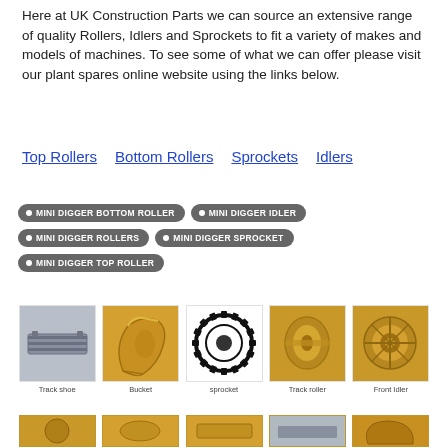Here at UK Construction Parts we can source an extensive range of quality Rollers, Idlers and Sprockets to fit a variety of makes and models of machines. To see some of what we can offer please visit our plant spares online website using the links below.
Top Rollers
Bottom Rollers
Sprockets
Idlers
• MINI DIGGER BOTTOM ROLLER
• MINI DIGGER IDLER
• MINI DIGGER ROLLERS
• MINI DIGGER SPROCKET
• MINI DIGGER TOP ROLLER
[Figure (photo): Track shoe - grey metal plate]
Track shoe
[Figure (photo): Bucket - yellow/gold excavator bucket]
Bucket
[Figure (photo): Sprocket - black metal toothed sprocket wheel]
sprocket
[Figure (photo): Track roller - gold/yellow double-flange roller]
Track roller
[Figure (photo): Front idler - gold/yellow front idler wheel]
Front Idler